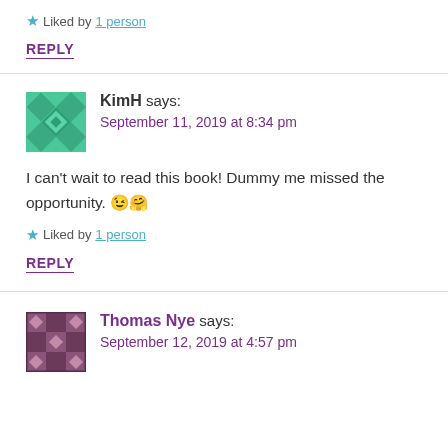Liked by 1 person
REPLY
KimH says: September 11, 2019 at 8:34 pm
I can't wait to read this book! Dummy me missed the opportunity. 😉🤗
Liked by 1 person
REPLY
Thomas Nye says: September 12, 2019 at 4:57 pm